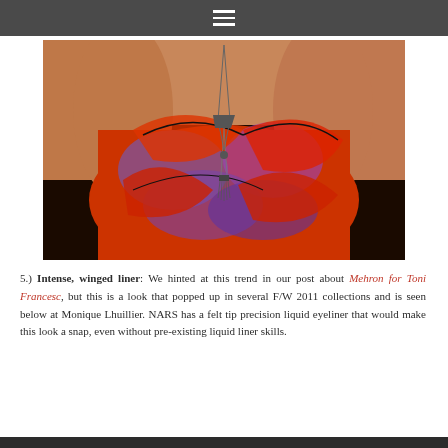≡
[Figure (photo): Close-up photo of a person wearing a colorful red and purple patterned strapless dress/top with a long chain necklace featuring a tassel and pendant details.]
5.) Intense, winged liner: We hinted at this trend in our post about Mehron for Toni Francesc, but this is a look that popped up in several F/W 2011 collections and is seen below at Monique Lhuillier. NARS has a felt tip precision liquid eyeliner that would make this look a snap, even without pre-existing liquid liner skills.